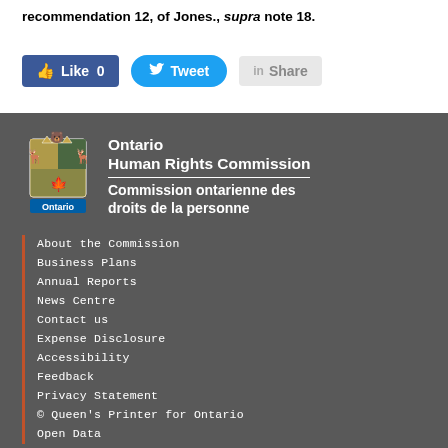recommendation 12, of Jones., supra note 18.
[Figure (screenshot): Social sharing buttons: Like 0 (Facebook), Tweet (Twitter), Share (LinkedIn)]
[Figure (logo): Ontario Human Rights Commission / Commission ontarienne des droits de la personne logo with Ontario crest]
About the Commission
Business Plans
Annual Reports
News Centre
Contact us
Expense Disclosure
Accessibility
Feedback
Privacy Statement
© Queen's Printer for Ontario
Open Data